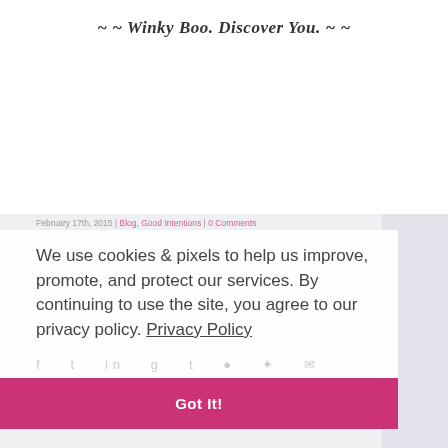~ ~ Winky Boo. Discover You. ~ ~
February 17th, 2015 | Blog, Good Intentions | 0 Comments
We use cookies & pixels to help us improve, promote, and protect our services. By continuing to use the site, you agree to our privacy policy. Privacy Policy
Got It!